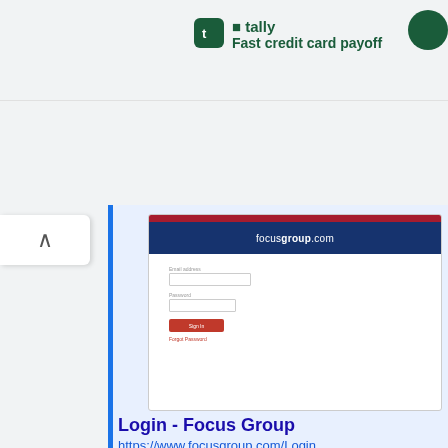[Figure (screenshot): Tally app advertisement banner at top: green Tally icon, text 'tally' and 'Fast credit card payoff' in dark green]
[Figure (screenshot): Screenshot of focusgroup.com login page showing email address field, password field, Sign In button, and Forgot Password link on a white background with navy and red header bar]
Login - Focus Group
https://www.focusgroup.com/Login
Focus Pointe Global. Forgot Password.
694,883
US